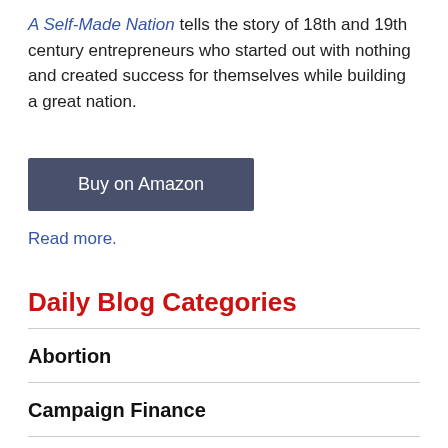A Self-Made Nation tells the story of 18th and 19th century entrepreneurs who started out with nothing and created success for themselves while building a great nation.
[Figure (other): Buy on Amazon button (dark slate blue rectangle)]
Read more.
Daily Blog Categories
Abortion
Campaign Finance
Communism and Those Who Miss it